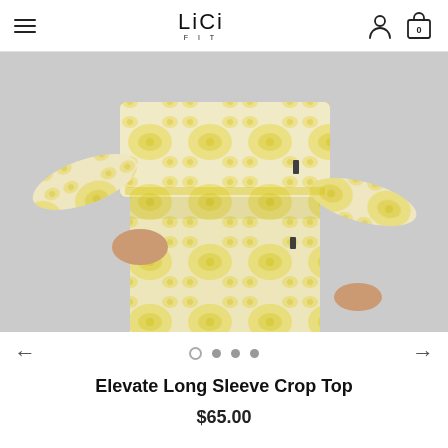LiCi FIT
[Figure (photo): A woman wearing a yellow and white tie-dye long sleeve crop top and matching high-waist leggings, photographed from the torso down on a light grey background.]
Elevate Long Sleeve Crop Top
$65.00